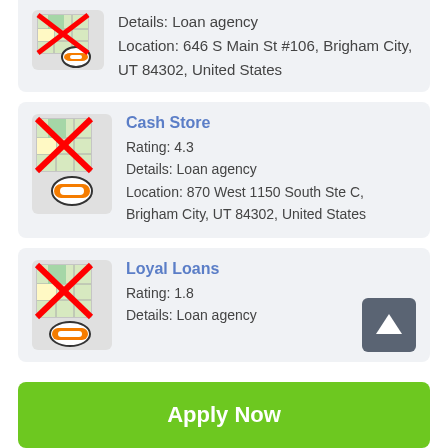Details: Loan agency
Location: 646 S Main St #106, Brigham City, UT 84302, United States
Cash Store
Rating: 4.3
Details: Loan agency
Location: 870 West 1150 South Ste C, Brigham City, UT 84302, United States
Loyal Loans
Rating: 1.8
Details: Loan agency
Apply Now
Applying does NOT affect your credit score!
No credit check to apply.